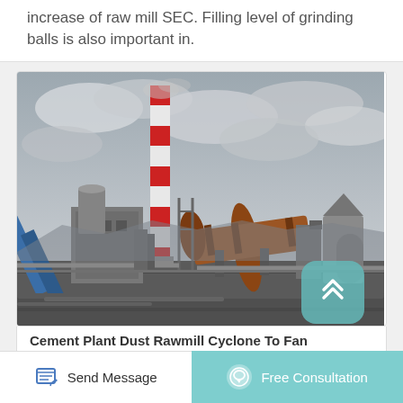increase of raw mill SEC. Filling level of grinding balls is also important in.
[Figure (photo): Industrial cement plant facility with a tall red-and-white striped chimney/smokestack, large cylindrical rotary kiln, conveyor belts, silos, and various industrial equipment under a cloudy sky.]
Cement Plant Dust Rawmill Cyclone To Fan
Send Message
Free Consultation